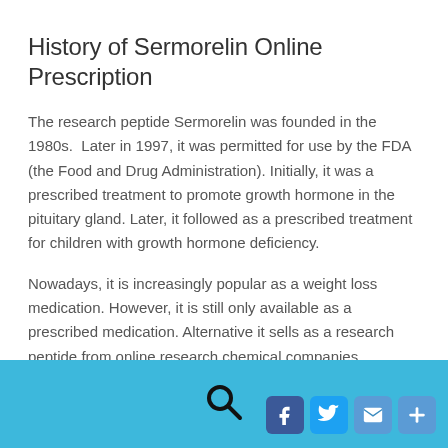History of Sermorelin Online Prescription
The research peptide Sermorelin was founded in the 1980s. Later in 1997, it was permitted for use by the FDA (the Food and Drug Administration). Initially, it was a prescribed treatment to promote growth hormone in the pituitary gland. Later, it followed as a prescribed treatment for children with growth hormone deficiency.
Nowadays, it is increasingly popular as a weight loss medication. However, it is still only available as a prescribed medication. Alternative it sells as a research peptide from online research chemical companies.
[Figure (other): Footer bar with search icon and social media share buttons (Facebook, Twitter, Email, Plus) on a light blue background]